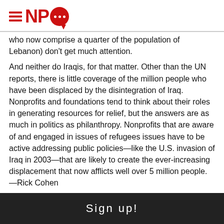[Figure (logo): NPQ (Nonprofit Quarterly) logo with three red horizontal lines on left, bold red NPQ text, and red speech bubble with three white dots]
who now comprise a quarter of the population of Lebanon) don't get much attention.
And neither do Iraqis, for that matter. Other than the UN reports, there is little coverage of the million people who have been displaced by the disintegration of Iraq. Nonprofits and foundations tend to think about their roles in generating resources for relief, but the answers are as much in politics as philanthropy. Nonprofits that are aware of and engaged in issues of refugees issues have to be active addressing public policies—like the U.S. invasion of Iraq in 2003—that are likely to create the ever-increasing displacement that now afflicts well over 5 million people.—Rick Cohen
Sign up!